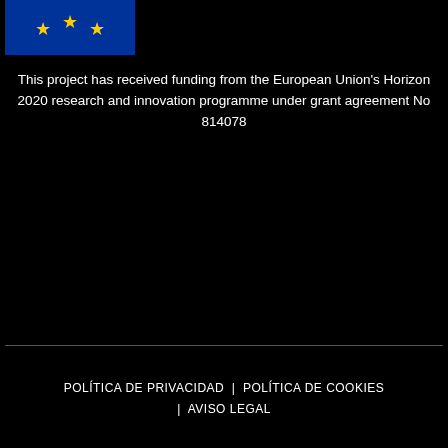[Figure (logo): European Union flag — blue rectangle with partial circle of yellow stars visible (3 stars shown)]
This project has received funding from the European Union's Horizon 2020 research and innovation programme under grant agreement No 814078
POLÍTICA DE PRIVACIDAD  |  POLÍTICA DE COOKIES  |  AVISO LEGAL